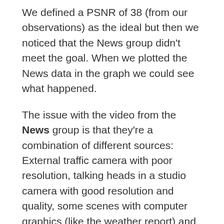We defined a PSNR of 38 (from our observations) as the ideal but then we noticed that the News group didn't meet the goal. When we plotted the News data in the graph we could see what happened.
The issue with the video from the News group is that they're a combination of different sources: External traffic camera with poor resolution, talking heads in a studio camera with good resolution and quality, some scenes with computer graphics (like the weather report) and others. We suspected that the News average was affected by those outliers but this kind of video is part of our reality.